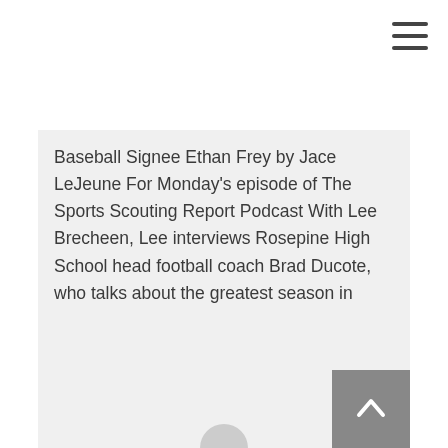[Figure (other): Hamburger menu icon (three horizontal lines) in the top right corner]
Baseball Signee Ethan Frey by Jace LeJeune For Monday's episode of The Sports Scouting Report Podcast With Lee Brecheen, Lee interviews Rosepine High School head football coach Brad Ducote, who talks about the greatest season in program history…
[Figure (other): Gray card placeholder with a partial circular icon at the bottom center, and a scroll-to-top arrow button in the bottom right corner]